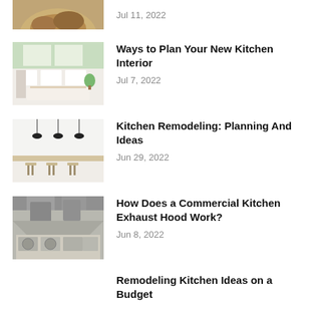[Figure (photo): Partial view of bread on a plate, cropped at top]
Jul 11, 2022
[Figure (photo): Modern white kitchen interior with island]
Ways to Plan Your New Kitchen Interior
Jul 7, 2022
[Figure (photo): Modern kitchen with bar stools and pendant lights]
Kitchen Remodeling: Planning And Ideas
Jun 29, 2022
[Figure (photo): Commercial kitchen exhaust hood system]
How Does a Commercial Kitchen Exhaust Hood Work?
Jun 8, 2022
Remodeling Kitchen Ideas on a Budget